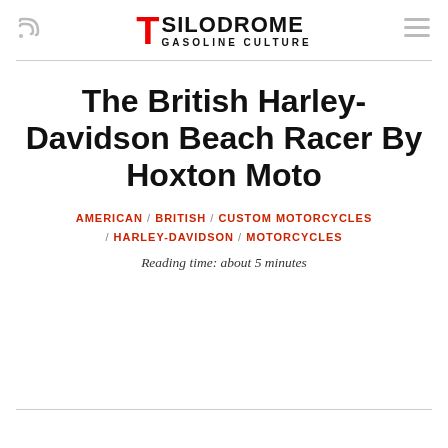SILODROME GASOLINE CULTURE
The British Harley-Davidson Beach Racer By Hoxton Moto
AMERICAN / BRITISH / CUSTOM MOTORCYCLES / HARLEY-DAVIDSON / MOTORCYCLES
Reading time: about 5 minutes